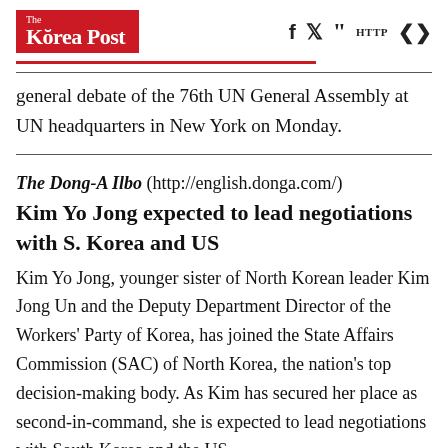The Korea Post
general debate of the 76th UN General Assembly at UN headquarters in New York on Monday.
The Dong-A Ilbo (http://english.donga.com/) Kim Yo Jong expected to lead negotiations with S. Korea and US
Kim Yo Jong, younger sister of North Korean leader Kim Jong Un and the Deputy Department Director of the Workers' Party of Korea, has joined the State Affairs Commission (SAC) of North Korea, the nation's top decision-making body. As Kim has secured her place as second-in-command, she is expected to lead negotiations with South Korea and the US.